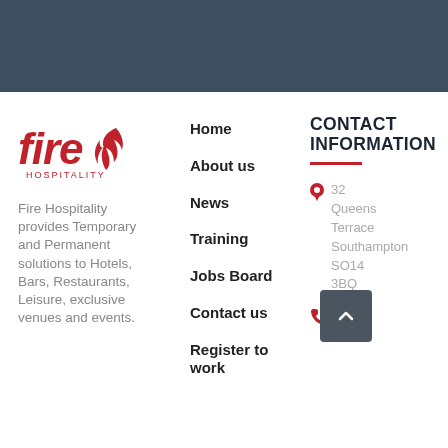[Figure (logo): Fire Hospitality logo - red stylized text 'fire' with flame graphic and 'HOSPITALITY' subtitle]
Fire Hospitality provides Temporary and Permanent solutions to Hotels, Bars, Restaurants, Leisure, exclusive venues and events.
Home
About us
News
Training
Jobs Board
Contact us
Register to work
CONTACT INFORMATION
32 Queens Terrace Southampton SO14 3BQ
8155 0069